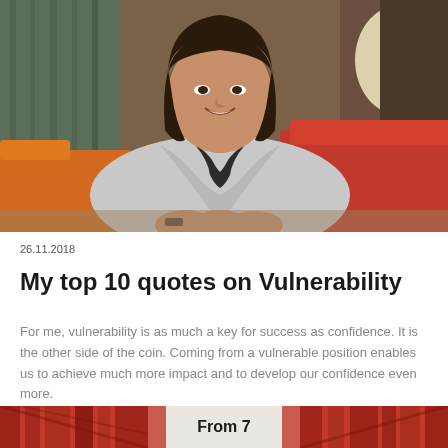[Figure (photo): Professional woman with dark bob haircut wearing a light grey blazer, sitting with hands clasped, smiling at camera. Background shows a modern lounge/office setting with orange/red sofa, green chair, and warm lighting.]
26.11.2018
My top 10 quotes on Vulnerability
For me, vulnerability is as much a key for success as confidence. It is the other side of the coin. Coming from a vulnerable position enables us to achieve much more impact and to develop our confidence even more.
[Figure (photo): Bottom strip showing three thumbnail images: left and right thumbnails show red/pattern imagery, center thumbnail shows text starting with 'From'.]